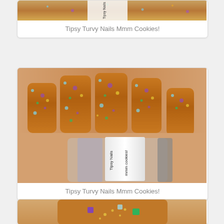[Figure (photo): Partial view of nail polish product photo at top of page]
Tipsy Turvy Nails Mmm Cookies!
[Figure (photo): Close-up photo of hand with brown glitter nail polish featuring multicolor glitter, with a nail polish bottle labeled 'Tipsy Turvy Nails Mmm Cookies!']
Tipsy Turvy Nails Mmm Cookies!
[Figure (photo): Partial close-up photo of nail with brown glitter polish and visible glitter pieces in purple, green, and gold colors]